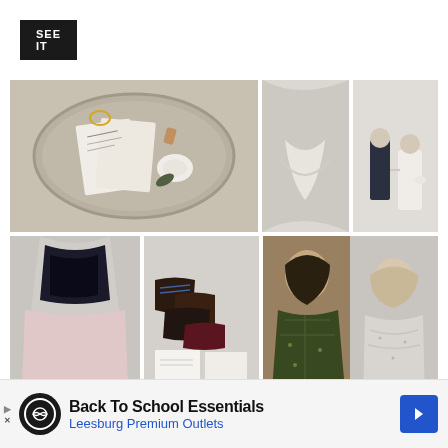SEE IT
[Figure (photo): Wedding photo collage: silver tray with handwritten invitations and white rose, close-up of bride's white ruffled dress, couple in formal wedding attire, black sequined dress with pink skirt and men's dress shoes with invitations, woman in green patterned dress with dark hair, woman in white lace dress, floral arrangement with white flowers]
[Figure (infographic): Advertisement banner: Back To School Essentials - Leesburg Premium Outlets with navigation arrows and infinity-style logo]